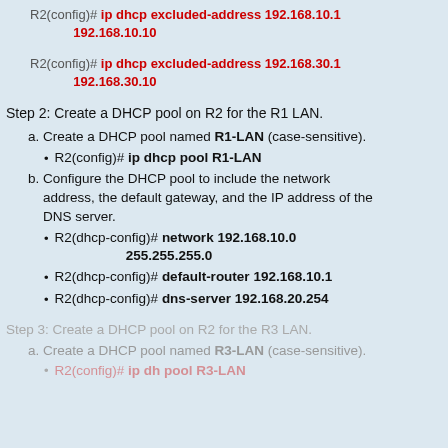R2(config)# ip dhcp excluded-address 192.168.10.1 192.168.10.10
R2(config)# ip dhcp excluded-address 192.168.30.1 192.168.30.10
Step 2: Create a DHCP pool on R2 for the R1 LAN.
a. Create a DHCP pool named R1-LAN (case-sensitive).
R2(config)# ip dhcp pool R1-LAN
b. Configure the DHCP pool to include the network address, the default gateway, and the IP address of the DNS server.
R2(dhcp-config)# network 192.168.10.0 255.255.255.0
R2(dhcp-config)# default-router 192.168.10.1
R2(dhcp-config)# dns-server 192.168.20.254
Step 3: Create a DHCP pool on R2 for the R3 LAN.
a. Create a DHCP pool named R3-LAN (case-sensitive).
R2(config)# ip dh pool R3-LAN